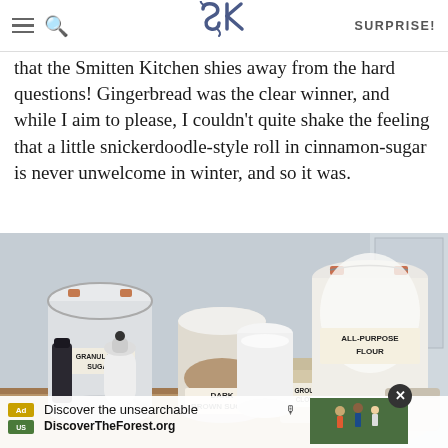SK | SURPRISE!
that the Smitten Kitchen shies away from the hard questions! Gingerbread was the clear winner, and while I aim to please, I couldn't quite shake the feeling that a little snickerdoodle-style roll in cinnamon-sugar is never unwelcome in winter, and so it was.
[Figure (photo): Kitchen counter with glass jars and containers holding baking ingredients: all-purpose flour, dark brown sugar, ground cloves, granulated sugar, and other baking items]
Discover the unsearchable | DiscoverTheForest.org